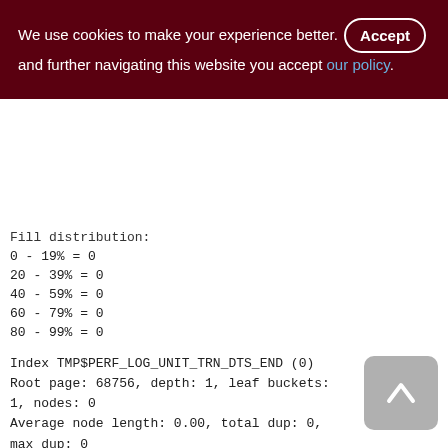We use cookies to make your experience better. By accepting and further navigating this website you accept our policy.
Fill distribution:
0 - 19% = 0
20 - 39% = 0
40 - 59% = 0
60 - 79% = 0
80 - 99% = 0
Index TMP$PERF_LOG_UNIT_TRN_DTS_END (0) Root page: 68756, depth: 1, leaf buckets: 1, nodes: 0 Average node length: 0.00, total dup: 0, max dup: 0 Average key length: 0.00, compression